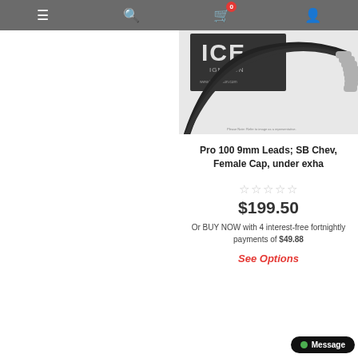Navigation bar with menu, search, cart (0), and profile icons
[Figure (photo): ICE Ignition Pro 100 9mm spark plug leads product photo showing black ignition wires fanned out with grey boots, with ICE Ignition branded packaging box in background]
Pro 100 9mm Leads; SB Chev, Female Cap, under exha
☆☆☆☆☆
$199.50
Or BUY NOW with 4 interest-free fortnightly payments of $49.88
See Options